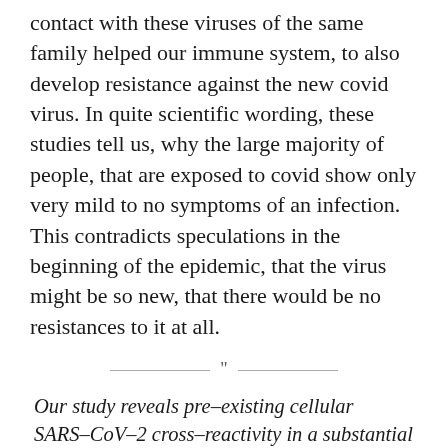contact with these viruses of the same family helped our immune system, to also develop resistance against the new covid virus. In quite scientific wording, these studies tell us, why the large majority of people, that are exposed to covid show only very mild to no symptoms of an infection. This contradicts speculations in the beginning of the epidemic, that the virus might be so new, that there would be no resistances to it at all.
Our study reveals pre-existing cellular SARS-CoV-2 cross-reactivity in a substantial proportion of SARS-CoV-2-seronegative HDs. This finding could have considerable epidemiological implications regarding herd immunity thresholds and projections for the COVID-19 pandemic. In 12 (67%) and 15 (83%) out of 18 patients, we detected CD4+ T cells that reacted against the S-I